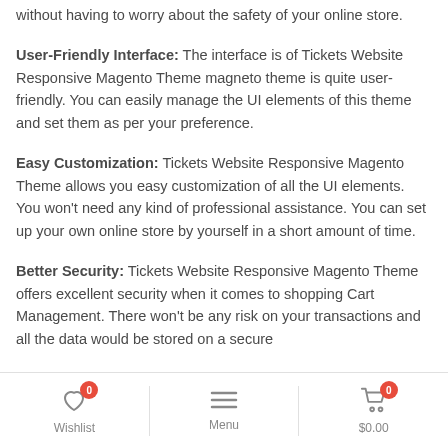without having to worry about the safety of your online store.
User-Friendly Interface: The interface is of Tickets Website Responsive Magento Theme magneto theme is quite user-friendly. You can easily manage the UI elements of this theme and set them as per your preference.
Easy Customization: Tickets Website Responsive Magento Theme allows you easy customization of all the UI elements. You won't need any kind of professional assistance. You can set up your own online store by yourself in a short amount of time.
Better Security: Tickets Website Responsive Magento Theme offers excellent security when it comes to shopping Cart Management. There won't be any risk on your transactions and all the data would be stored on a secure
Wishlist 0  Menu  $0.00 0